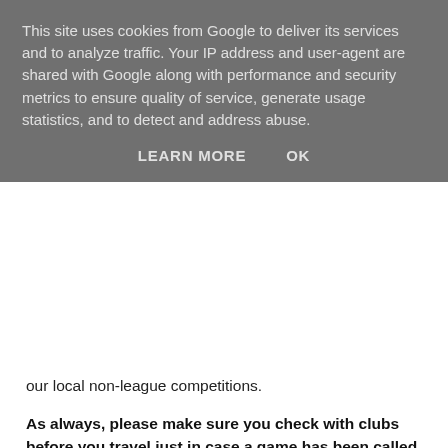This site uses cookies from Google to deliver its services and to analyze traffic. Your IP address and user-agent are shared with Google along with performance and security metrics to ensure quality of service, generate usage statistics, and to detect and address abuse.
LEARN MORE   OK
our local non-league competitions.
As always, please make sure you check with clubs before you travel just in case a game has been called off or the venue or kick-off time has changed - this is highly possible for some of the lower non-league clubs. Also, please let me know if anything is wrong or missing.
Details on all of this week's games can be found on the following match maps. If you've never used them before, please note that when there is more than one match at a specific ground you'll only be able to see individual match pins if you zoom right in. If you don't, the pins obscure each